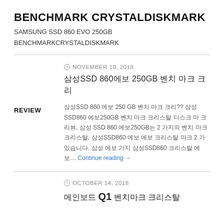BENCHMARK CRYSTALDISKMARK
SAMSUNG SSD 860 EVO 250GB
BENCHMARKCRYSTALDISKMARK
NOVEMBER 10, 2018
삼성 SSD 860 에보 250GB 벤치마크 크리스탈 디스크 마크
삼성 SSD 860 에보 250GB 벤치마크 크리스탈 디스크 마크
REVIEW
OCTOBER 14, 2018
메인보드 Q1 벤치마크 크리스탈